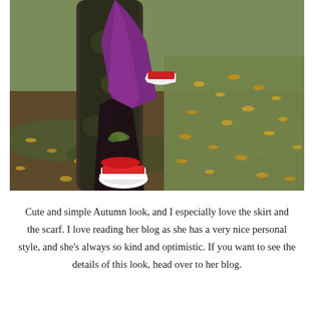[Figure (photo): Outdoor autumn photo showing lower half of a person wearing a purple coat, black patterned skirt, and red-and-white sneakers, standing near a large mossy tree trunk surrounded by fallen yellow and brown leaves on patchy grass and dirt ground.]
Cute and simple Autumn look, and I especially love the skirt and the scarf. I love reading her blog as she has a very nice personal style, and she's always so kind and optimistic. If you want to see the details of this look, head over to her blog.